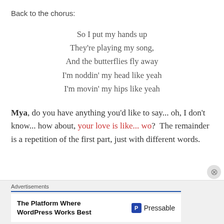Back to the chorus:
So I put my hands up
They're playing my song,
And the butterflies fly away
I'm noddin' my head like yeah
I'm movin' my hips like yeah
Mya, do you have anything you'd like to say... oh, I don't know... how about, your love is like... wo?  The remainder is a repetition of the first part, just with different words.
Advertisements
The Platform Where WordPress Works Best — Pressable